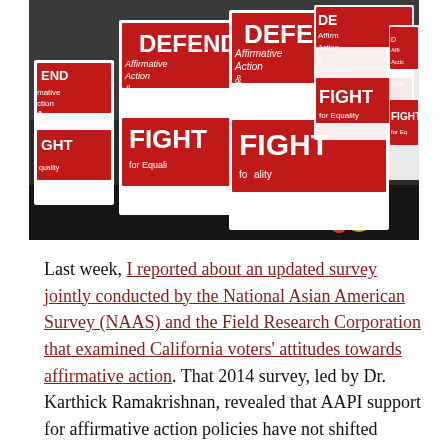[Figure (photo): Crowd of protesters holding white and red signs reading 'DEFEND Affirmative Action & Integration' and 'FIGHT for Equality']
Last week, I reported about an updated survey jointly conducted by the National Asian American Survey (NAAS) and the Field Research Corporation that examined California voters' attitudes towards affirmative action. That 2014 survey, led by Dr. Karthick Ramakrishnan, revealed that AAPI support for affirmative action policies have not shifted